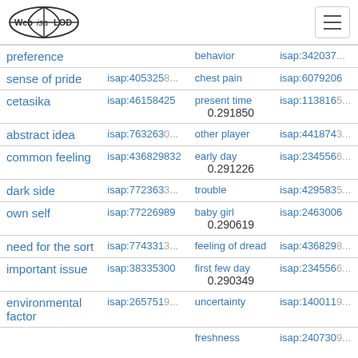Web isa LOD
| Term | ID | Related Term | Related ID |
| --- | --- | --- | --- |
| preference |  | behavior | isap:342037... |
| sense of pride | isap:4053258... | chest pain | isap:6079206 |
| cetasika | isap:46158425 | present time
0.291850 | isap:1138165... |
| abstract idea | isap:7632630... | other player | isap:4418743... |
| common feeling | isap:436829832 | early day
0.291226 | isap:2345566... |
| dark side | isap:7723633... | trouble | isap:4295835... |
| own self | isap:77226989 | baby girl
0.290619 | isap:2463006 |
| need for the sort | isap:7743313... | feeling of dread | isap:4368298... |
| important issue | isap:38335300 | first few day
0.290349 | isap:2345566... |
| environmental factor | isap:2657519... | uncertainty | isap:1400119... |
|  |  | freshness | isap:2407309... |